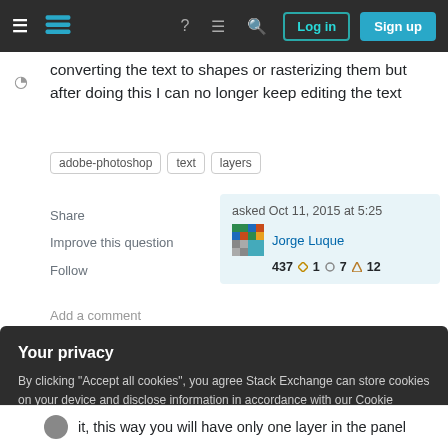[Figure (screenshot): Stack Exchange navigation bar with hamburger menu, logo, icons, Log in and Sign up buttons]
converting the text to shapes or rasterizing them but after doing this I can no longer keep editing the text
adobe-photoshop   text   layers
Share
Improve this question
Follow
asked Oct 11, 2015 at 5:25
Jorge Luque
437 ◇1 ○7 △12
Add a comment
Sorted by
Your privacy
By clicking "Accept all cookies", you agree Stack Exchange can store cookies on your device and disclose information in accordance with our Cookie Policy.
Accept all cookies   Customize settings
it, this way you will have only one layer in the panel